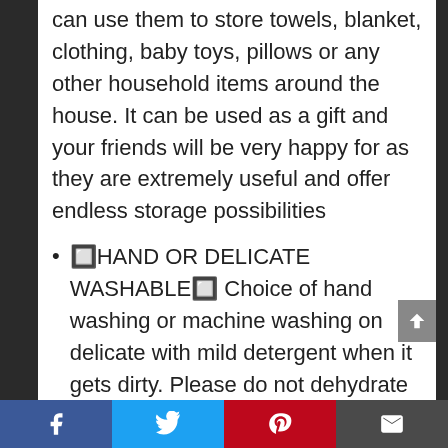can use them to store towels, blanket, clothing, baby toys, pillows or any other household items around the house. It can be used as a gift and your friends will be very happy for as they are extremely useful and offer endless storage possibilities
🔲HAND OR DELICATE WASHABLE🔲 Choice of hand washing or machine washing on delicate with mild detergent when it gets dirty. Please do not dehydrate with washing machine
Social share bar: Facebook, Twitter, Pinterest, Email